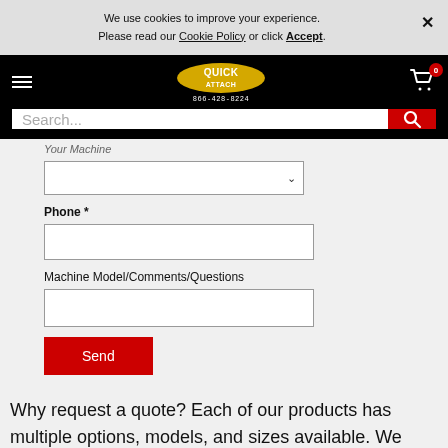We use cookies to improve your experience. Please read our Cookie Policy or click Accept.
Quick Attach | 866-428-8224
Search...
Your Machine
Phone *
Machine Model/Comments/Questions
Send
Why request a quote? Each of our products has multiple options, models, and sizes available. We want to get you